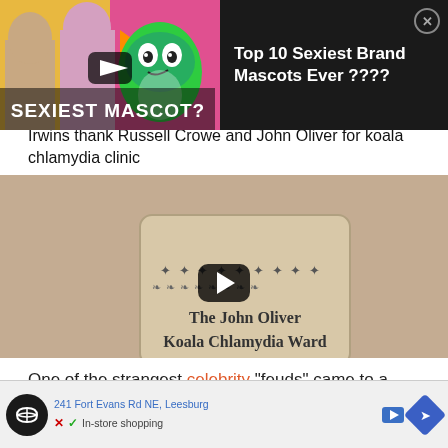[Figure (screenshot): Ad overlay showing 'Top 10 Sexiest Brand Mascots Ever ????' with thumbnail of green M&M mascot and two people reacting, dark background panel with close button]
Top 10 Sexiest Brand Mascots Ever ????
[Figure (screenshot): Video thumbnail showing a sign reading 'The John Oliver Koala Chlamydia Ward' with decorative animal footprints, with a YouTube play button overlay. Headline: Irwins thank Russell Crowe and John Oliver for koala chlamydia clinic]
Irwins thank Russell Crowe and John Oliver for koala chlamydia clinic
One of the strangest celebrity "feuds" came to a triumphant end this week, after actor Russell Crowe named ... John Oliver
[Figure (screenshot): Bottom advertisement bar showing map/navigation interface with '241 Fort Evans Rd NE, Leesburg', In-store shopping text, navigation icon, play button, X and checkmark controls]